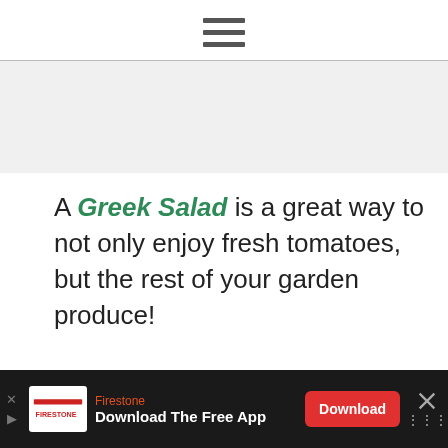≡ (hamburger menu icon)
A Greek Salad is a great way to not only enjoy fresh tomatoes, but the rest of your garden produce!
[Figure (photo): A white ceramic bowl filled with fresh red tomatoes with basil leaves beside it, and a bottle of olive oil in the background.]
Firestone Download The Free App Download